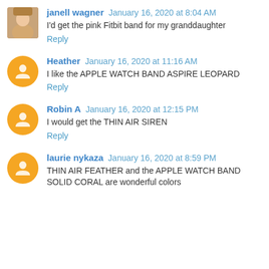janell wagner January 16, 2020 at 8:04 AM
I'd get the pink Fitbit band for my granddaughter
Reply
Heather January 16, 2020 at 11:16 AM
I like the APPLE WATCH BAND ASPIRE LEOPARD
Reply
Robin A January 16, 2020 at 12:15 PM
I would get the THIN AIR SIREN
Reply
laurie nykaza January 16, 2020 at 8:59 PM
THIN AIR FEATHER and the APPLE WATCH BAND SOLID CORAL are wonderful colors